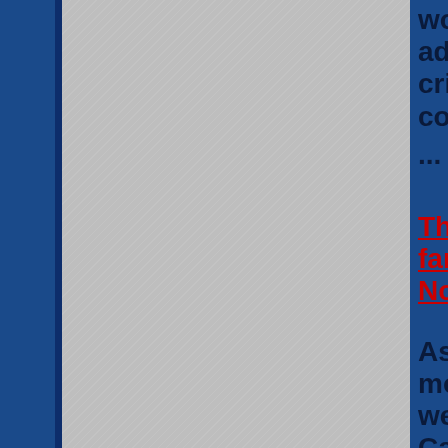would warmongering governments admit they have inflicted a crisis, food shortages and s... costs on their people for no...
...
The collapse of fascist regi... fanatical cults never is sim... Normal is proving to be no...
As the COVID narrative c... most authoritarian govern... western world refuses to a... Canada's Prime Minister A... Justin Trudeau lashes out ... challenges his unconstitut...
...